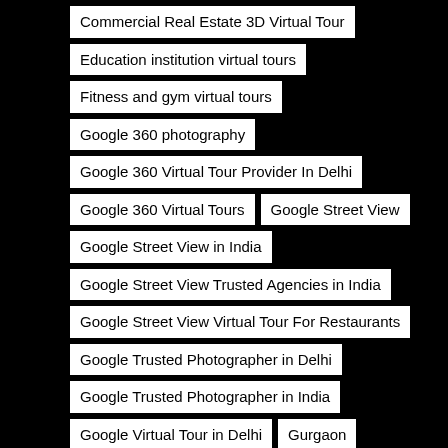Commercial Real Estate 3D Virtual Tour
Education institution virtual tours
Fitness and gym virtual tours
Google 360 photography
Google 360 Virtual Tour Provider In Delhi
Google 360 Virtual Tours
Google Street View
Google Street View in India
Google Street View Trusted Agencies in India
Google Street View Virtual Tour For Restaurants
Google Trusted Photographer in Delhi
Google Trusted Photographer in India
Google Virtual Tour in Delhi
Gurgaon
Health...
...3D...